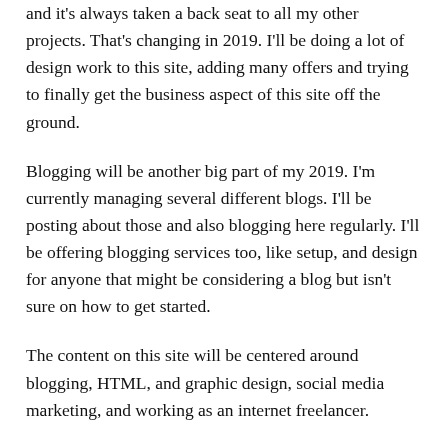and it's always taken a back seat to all my other projects. That's changing in 2019. I'll be doing a lot of design work to this site, adding many offers and trying to finally get the business aspect of this site off the ground.
Blogging will be another big part of my 2019. I'm currently managing several different blogs. I'll be posting about those and also blogging here regularly. I'll be offering blogging services too, like setup, and design for anyone that might be considering a blog but isn't sure on how to get started.
The content on this site will be centered around blogging, HTML, and graphic design, social media marketing, and working as an internet freelancer.
Wishing you all a wonderful 2019, and wishing you health, wealth, and prosperity in the new year.
This entry was posted in Blogging, Jibber Jabber, Social